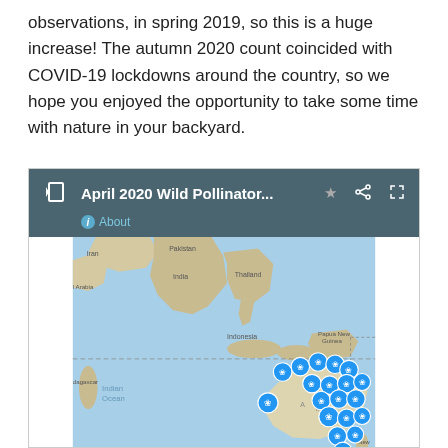observations, in spring 2019, so this is a huge increase! The autumn 2020 count coincided with COVID-19 lockdowns around the country, so we hope you enjoyed the opportunity to take some time with nature in your backyard.
[Figure (map): Screenshot of April 2020 Wild Pollinator map widget showing locations across Australia and surrounding regions including India, Indonesia, Papua New Guinea, with blue circular pollinator markers clustered around Australia.]